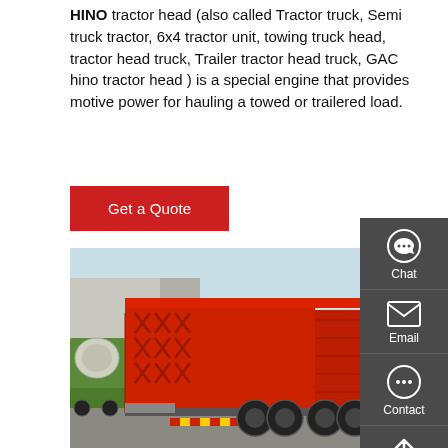HINO tractor head (also called Tractor truck, Semi truck tractor, 6x4 tractor unit, towing truck head, tractor head truck, Trailer tractor head truck, GAC hino tractor head ) is a special engine that provides motive power for hauling a towed or trailered load.
Get a Quote
[Figure (photo): Red HINO dump truck (tractor head) viewed from the rear-left, parked in a yard. A green cement mixer is visible on the left. The truck has large double rear wheels and a red tipper body with reinforced side panels.]